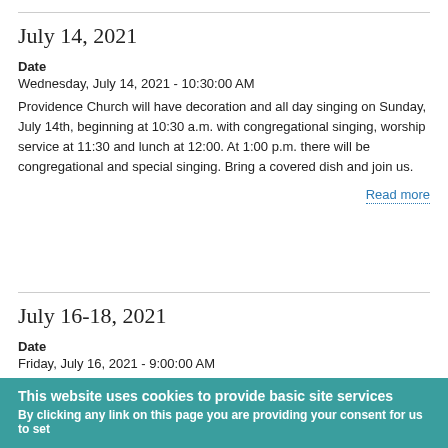July 14, 2021
Date
Wednesday, July 14, 2021 - 10:30:00 AM
Providence Church will have decoration and all day singing on Sunday, July 14th, beginning at 10:30 a.m. with congregational singing, worship service at 11:30 and lunch at 12:00. At 1:00 p.m. there will be congregational and special singing. Bring a covered dish and join us.
Read more
July 16-18, 2021
Date
Friday, July 16, 2021 - 9:00:00 AM
This website uses cookies to provide basic site services
By clicking any link on this page you are providing your consent for us to set cookies. More information